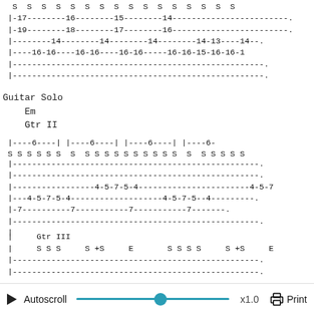S S S S S S S S S S S S S S S
|-17--------16--------15--------14--------------------
|-19--------18--------17--------16--------------------
|--------14--------14--------14--------14-13----14--
|----16-16----16-16----16-16-----16-16-15-16-16-1
|----------------------------------------------------
|----------------------------------------------------
Guitar Solo
   Em
   Gtr II
|----6----| |----6----| |----6----| |----6-
S S S S S S  S  S S S S S S S S S S  S  S S S S S
|----------------------------------------------------
|----------------------------------------------------
|-----------------4-5-7-5-4-----------------------4-5-7
|---4-5-7-5-4-------------------4-5-7-5--4---------
|-7----------7-----------7-----------7-------
|----------------------------------------------------
|
|     Gtr III
|     S S S     S +S     E       S S S S     S +S     E
|----------------------------------------------------
|----------------------------------------------------